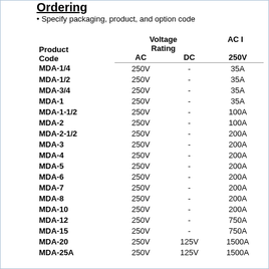Ordering
Specify packaging, product, and option code
| Product Code | Voltage Rating AC | Voltage Rating DC | AC In 250V |
| --- | --- | --- | --- |
| MDA-1/4 | 250V | - | 35A |
| MDA-1/2 | 250V | - | 35A |
| MDA-3/4 | 250V | - | 35A |
| MDA-1 | 250V | - | 35A |
| MDA-1-1/2 | 250V | - | 100A |
| MDA-2 | 250V | - | 100A |
| MDA-2-1/2 | 250V | - | 200A |
| MDA-3 | 250V | - | 200A |
| MDA-4 | 250V | - | 200A |
| MDA-5 | 250V | - | 200A |
| MDA-6 | 250V | - | 200A |
| MDA-7 | 250V | - | 200A |
| MDA-8 | 250V | - | 200A |
| MDA-10 | 250V | - | 200A |
| MDA-12 | 250V | - | 750A |
| MDA-15 | 250V | - | 750A |
| MDA-20 | 250V | 125V | 1500A |
| MDA-25A | 250V | 125V | 1500A |